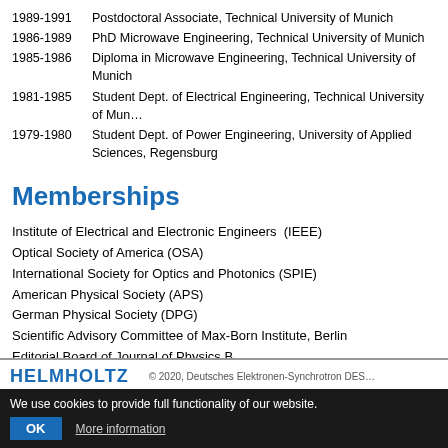1989-1991   Postdoctoral Associate, Technical University of Munich
1986-1989   PhD Microwave Engineering, Technical University of Munich
1985-1986   Diploma in Microwave Engineering, Technical University of Munich
1981-1985   Student Dept. of Electrical Engineering, Technical University of Munich
1979-1980   Student Dept. of Power Engineering, University of Applied Sciences, Regensburg
Memberships
Institute of Electrical and Electronic Engineers  (IEEE)
Optical Society of America (OSA)
International Society for Optics and Photonics (SPIE)
American Physical Society (APS)
German Physical Society (DPG)
Scientific Advisory Committee of Max-Born Institute, Berlin
Editorial Board of Journal of Physics B
HELMHOLTZ   © 2020, Deutsches Elektronen-Synchrotron DESY
We use cookies to provide full functionality of our website. OK  More information